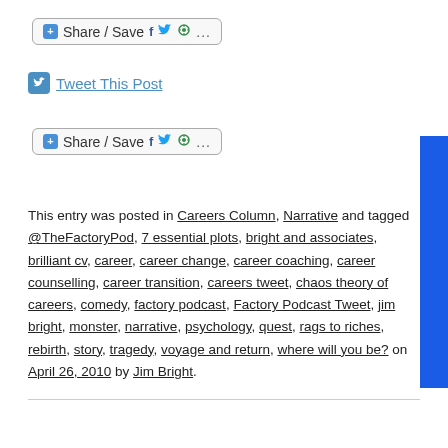[Figure (other): Share/Save button with social icons (Facebook, Twitter, Google+, more)]
Tweet This Post
[Figure (other): Share/Save button with social icons (Facebook, Twitter, Google+, more)]
This entry was posted in Careers Column, Narrative and tagged @TheFactoryPod, 7 essential plots, bright and associates, brilliant cv, career, career change, career coaching, career counselling, career transition, careers tweet, chaos theory of careers, comedy, factory podcast, Factory Podcast Tweet, jim bright, monster, narrative, psychology, quest, rags to riches, rebirth, story, tragedy, voyage and return, where will you be? on April 26, 2010 by Jim Bright.